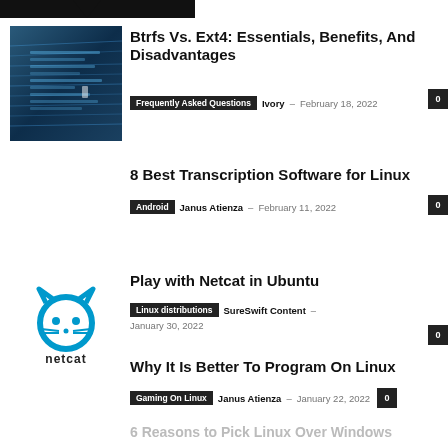[Figure (screenshot): Partial dark top bar from website navigation]
[Figure (photo): Dark blue terminal/code screenshot thumbnail]
Btrfs Vs. Ext4: Essentials, Benefits, And Disadvantages
Frequently Asked Questions  Ivory  – February 18, 2022  0
8 Best Transcription Software for Linux
Android  Janus Atienza  – February 11, 2022  0
[Figure (logo): Netcat logo: blue cat silhouette with 'netcat' text below]
Play with Netcat in Ubuntu
Linux distributions  SureSwift Content  – January 30, 2022  0
Why It Is Better To Program On Linux
Gaming On Linux  Janus Atienza  – January 22, 2022  0
6 Reasons to Pick Linux Over Windows